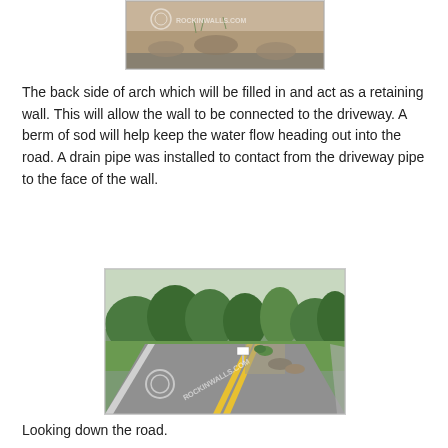[Figure (photo): Partial view of the back side of an arch/retaining wall structure with soil and gravel, watermarked with ROCKINWALLS.COM logo]
The back side of arch which will be filled in and act as a retaining wall. This will allow the wall to be connected to the driveway. A berm of sod will help keep the water flow heading out into the road. A drain pipe was installed to contact from the driveway pipe to the face of the wall.
[Figure (photo): Road-level view looking down a rural road with yellow center lines, trees, landscaping, driveway entrance, and watermark ROCKINWALLS.COM]
Looking down the road.